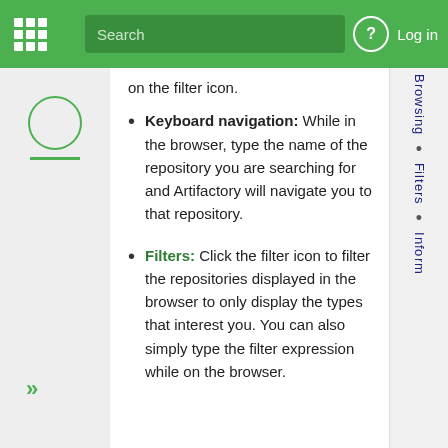Search  Log in
Keyboard navigation: While in the browser, type the name of the repository you are searching for and Artifactory will navigate you to that repository.
Filters: Click the filter icon to filter the repositories displayed in the browser to only display the types that interest you. You can also simply type the filter expression while on the browser.